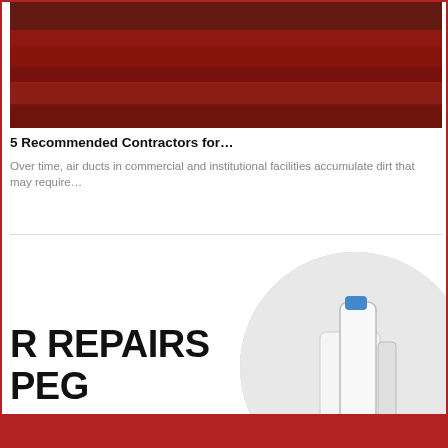[Figure (photo): Top image showing a dark red/brown background with horizontal bands, partially cropped at top]
5 Recommended Contractors for…
Over time, air ducts in commercial and institutional facilities accumulate dirt that may require…
[Figure (photo): Bottom card showing large bold text 'R REPAIRS PEG' on left, and a circular cropped image of a white water heater/appliance with a blue component on right, with a red bar at the bottom]